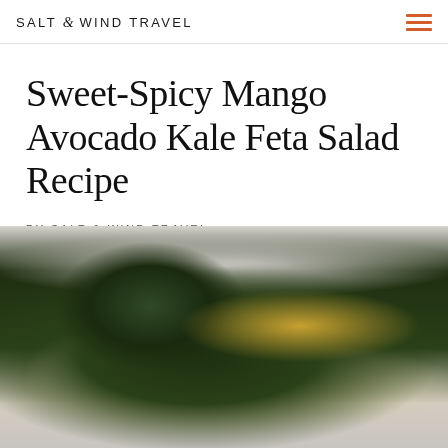SALT & WIND TRAVEL
Sweet-Spicy Mango Avocado Kale Feta Salad Recipe
BY SALT & WIND TRAVEL
[Figure (photo): Close-up photograph of kale salad with mango and avocado pieces on white plates, shot from a low angle]